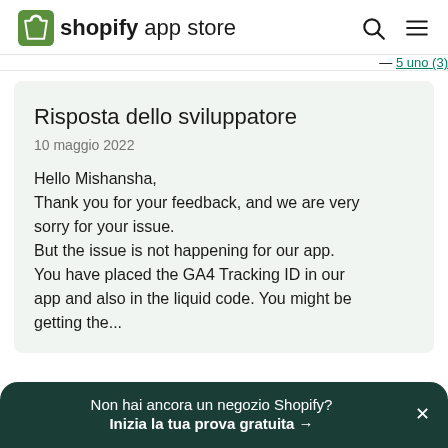shopify app store
5 uno (3)
Risposta dello sviluppatore
10 maggio 2022
Hello Mishansha,
Thank you for your feedback, and we are very sorry for your issue.
But the issue is not happening for our app.
You have placed the GA4 Tracking ID in our app and also in the liquid code. You might be getting the...
Non hai ancora un negozio Shopify?
Inizia la tua prova gratuita →